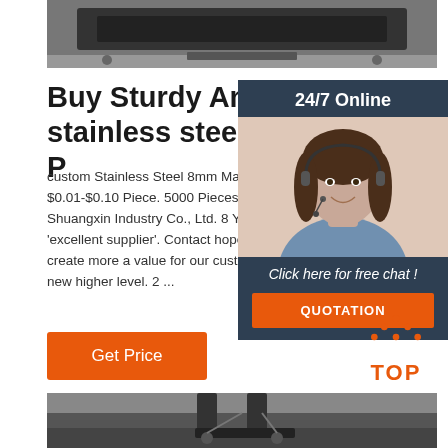[Figure (photo): Industrial machinery photograph at top of page, showing metal fabrication equipment in grayscale]
Buy Sturdy And Versatile stainless steel boat shaft P
custom Stainless Steel 8mm Marine Prop Sha Boat. $0.01-$0.10 Piece. 5000 Pieces (Min. O Dongguan Shuangxin Industry Co., Ltd. 8 YRS 'customer service' 'excellent supplier'. Contact hope that through our services, create more a value for our customers and friends in the new higher level. 2 ...
[Figure (photo): Customer service representative sidebar photo with headset, smiling woman]
24/7 Online
Click here for free chat !
QUOTATION
Get Price
[Figure (logo): TOP logo with orange dots arranged in triangle above orange TOP text]
[Figure (photo): Industrial crane or lifting equipment photograph at bottom of page, grayscale]